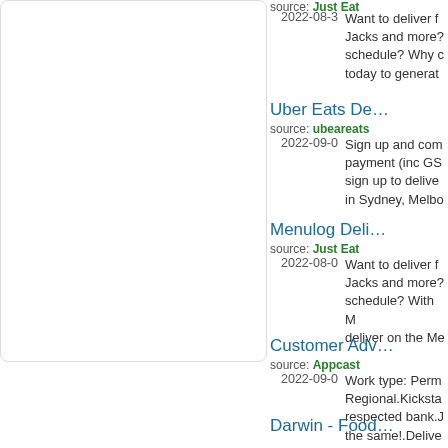[Figure (other): Left panel with rounded border box, mostly empty white space, partially visible search/filter interface]
source: Just Eat
2022-08-3
Want to deliver f... Jacks and more?... schedule? Why c... today to generat...
Uber Eats De...
source: ubeareats
2022-09-0
Sign up and com... payment (inc GS... sign up to delive... in Sydney, Melbo...
Menulog Deli...
source: Just Eat
2022-08-0
Want to deliver f... Jacks and more?... schedule? With M... deliver on the Me...
Customer Adv...
source: Appcast
2022-09-0
Work type: Perm... Regional.Kicksta... respected bank.J... the same!.Delive...
Darwin - Food...
source: Just Eat
2022-08-0
Want to deliver f...